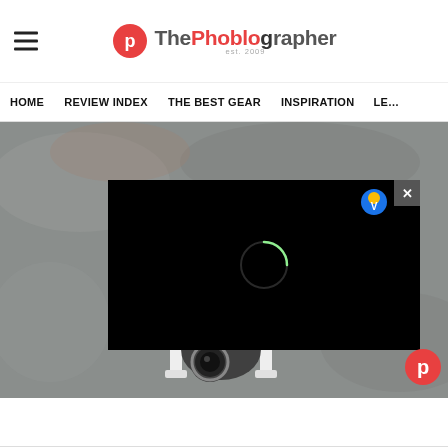The Phoblographer
HOME | REVIEW INDEX | THE BEST GEAR | INSPIRATION | LEA...
[Figure (photo): Top-down photo of a camera drone/gimbal on a concrete surface, with a black video loading overlay in the center containing a loading spinner circle, a close X button, and a vendor icon in the top right. A red Phoblographer P icon appears in the bottom right corner.]
ADVERTISEMENT